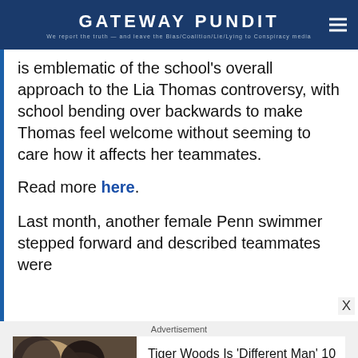GATEWAY PUNDIT
is emblematic of the school's overall approach to the Lia Thomas controversy, with school bending over backwards to make Thomas feel welcome without seeming to care how it affects her teammates.
Read more here.
Last month, another female Penn swimmer stepped forward and described teammates were
Advertisement
[Figure (photo): Photo of Tiger Woods with a woman, used in advertisement]
Tiger Woods Is 'Different Man' 10 Years After Scandal
Herbeauty